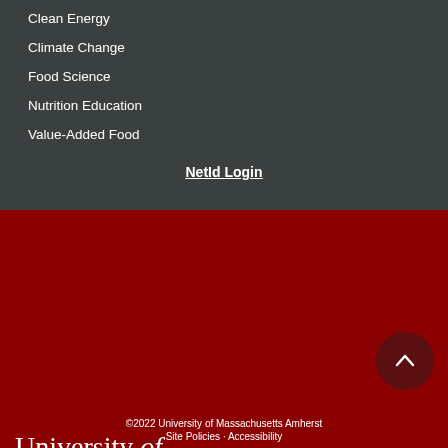Clean Energy
Climate Change
Food Science
Nutrition Education
Value-Added Food
NetId Login
[Figure (logo): University of Massachusetts Amherst logo in white text on dark red background]
©2022 University of Massachusetts Amherst
Site Policies · Accessibility